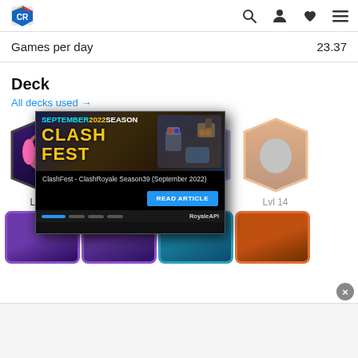RoyaleAPI navigation header with logo, search, profile, favorites, menu icons
Games per day    23.37
Deck
All decks used →
[Figure (screenshot): Two Clash Royale card thumbnails: card 1 (Witch, Lvl 14) with purple/dark border, card 2 (Prince, Lvl 14) with gold border, cards 3 and 4 partially visible with Lvl 14 labels]
[Figure (screenshot): Popup ad overlay showing 'SEPTEMBER 2022 SEASON CLASH FEST' promotional banner with text 'ClashFest - ClashRoyale Season39 (September 2022)' and a READ ARTICLE button, RoyaleAPI branding]
[Figure (screenshot): Second row of Clash Royale card thumbnails partially visible at bottom]
Lvl 14  Lvl 14  Lvl 14  Lvl 14